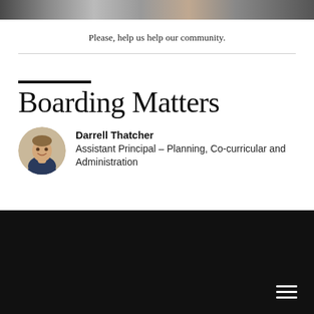[Figure (photo): Cropped group photo banner at the top of the page, partially visible]
Please, help us help our community.
Boarding Matters
[Figure (photo): Circular headshot of Darrell Thatcher in a suit]
Darrell Thatcher
Assistant Principal – Planning, Co-curricular and Administration